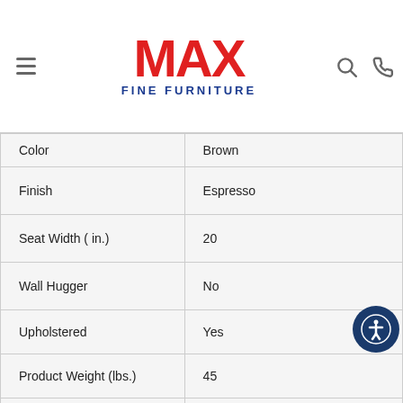MAX Fine Furniture
| Attribute | Value |
| --- | --- |
| Color | Brown |
| Finish | Espresso |
| Seat Width ( in.) | 20 |
| Wall Hugger | No |
| Upholstered | Yes |
| Product Weight (lbs.) | 45 |
| Back Type | Attached Back |